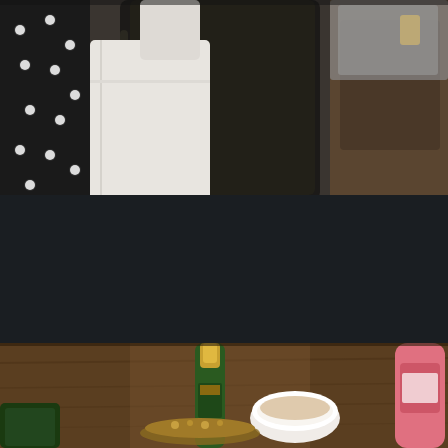[Figure (photo): A composite photograph showing two scenes separated by a dark band. Top scene: a person wearing a white dress shirt and black polka-dot tie or vest, standing near a dark leather chair, with a wooden dresser visible in the background on the right. Bottom scene: a wooden table with a green champagne bottle with gold foil, a white bowl, a decorative golden tray with nuts or snacks, and a pink bottle or container on the right edge.]